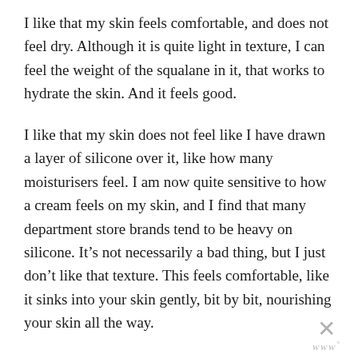I like that my skin feels comfortable, and does not feel dry. Although it is quite light in texture, I can feel the weight of the squalane in it, that works to hydrate the skin. And it feels good.
I like that my skin does not feel like I have drawn a layer of silicone over it, like how many moisturisers feel. I am now quite sensitive to how a cream feels on my skin, and I find that many department store brands tend to be heavy on silicone. It’s not necessarily a bad thing, but I just don’t like that texture. This feels comfortable, like it sinks into your skin gently, bit by bit, nourishing your skin all the way.